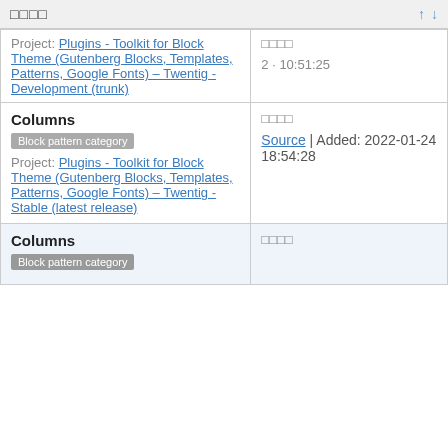□□□□
| Name/Project | Details |
| --- | --- |
| Project: Plugins - Toolkit for Block Theme (Gutenberg Blocks, Templates, Patterns, Google Fonts) – Twentig - Development (trunk) | □□□□
2 · 10:51:25 |
| Columns
Block pattern category
Project: Plugins - Toolkit for Block Theme (Gutenberg Blocks, Templates, Patterns, Google Fonts) – Twentig - Stable (latest release) | □□□□
Source | Added: 2022-01-24 18:54:28 |
| Columns
Block pattern category | □□□□ |